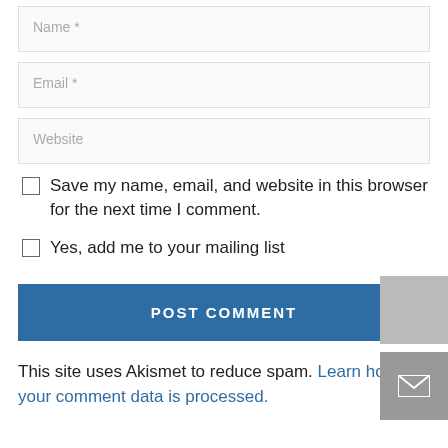Name *
Email *
Website
Save my name, email, and website in this browser for the next time I comment.
Yes, add me to your mailing list
POST COMMENT
This site uses Akismet to reduce spam. Learn how your comment data is processed.